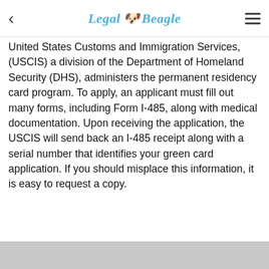Legal Beagle
United States Customs and Immigration Services, (USCIS) a division of the Department of Homeland Security (DHS), administers the permanent residency card program. To apply, an applicant must fill out many forms, including Form I-485, along with medical documentation. Upon receiving the application, the USCIS will send back an I-485 receipt along with a serial number that identifies your green card application. If you should misplace this information, it is easy to request a copy.